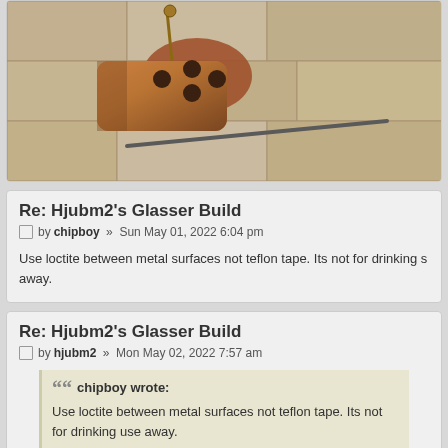[Figure (photo): A copper or bronze cylindrical object with holes (possibly a diffuser or filter component) lying on stone/brick surface with a metal rod nearby.]
Re: Hjubm2's Glasser Build
by chipboy » Sun May 01, 2022 6:04 pm
Use loctite between metal surfaces not teflon tape. Its not for drinking s away.
Re: Hjubm2's Glasser Build
by hjubm2 » Mon May 02, 2022 7:57 am
chipboy wrote: Use loctite between metal surfaces not teflon tape. Its not for drinking use away.